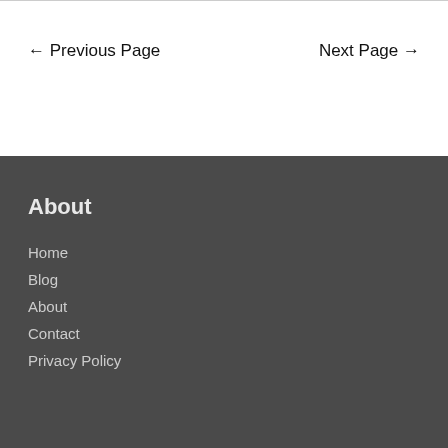← Previous Page
Next Page →
About
Home
Blog
About
Contact
Privacy Policy